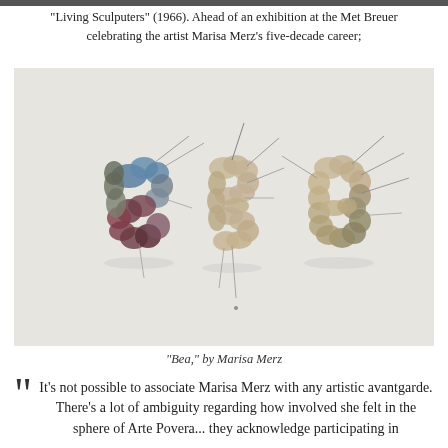"Living Sculputers" (1966). Ahead of an exhibition at the Met Breuer celebrating the artist Marisa Merz's five-decade career;
[Figure (photo): Photograph of an artwork titled 'Bea' by Marisa Merz. Three letters B, E, A formed from textured yarn and wire materials on a light gray background. The B shows blue and burgundy tones, E and A are in beige/tan tones with protruding metal wires.]
"Bea," by Marisa Merz
It's not possible to associate Marisa Merz with any artistic avantgarde. There's a lot of ambiguity regarding how involved she felt in the sphere of Arte Povera... they acknowledge participating in...